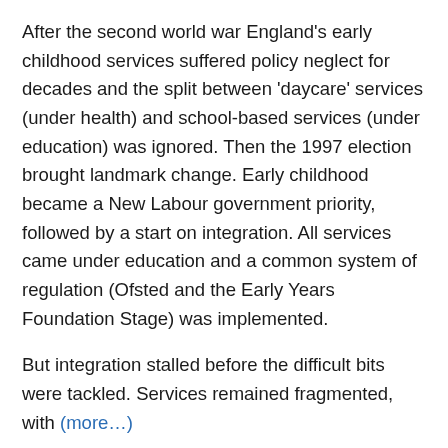After the second world war England's early childhood services suffered policy neglect for decades and the split between 'daycare' services (under health) and school-based services (under education) was ignored. Then the 1997 election brought landmark change. Early childhood became a New Labour government priority, followed by a start on integration. All services came under education and a common system of regulation (Ofsted and the Early Years Foundation Stage) was implemented.
But integration stalled before the difficult bits were tackled. Services remained fragmented, with (more…)
Filed under Childhood & early education, Education policy
Tags: early childhood education, Early childhood services, Parents